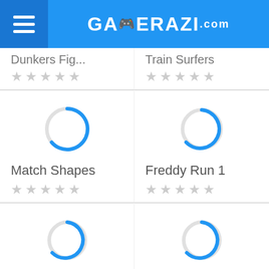GAMERAZI.com
Dunkers Fig...
Train Surfers
[Figure (illustration): Loading spinner circle for Match Shapes game]
[Figure (illustration): Loading spinner circle for Freddy Run 1 game]
Match Shapes
Freddy Run 1
[Figure (illustration): Loading spinner circle for Spidey Man game]
[Figure (illustration): Loading spinner circle for Death Driver game]
Spidey Man...
Death Driver